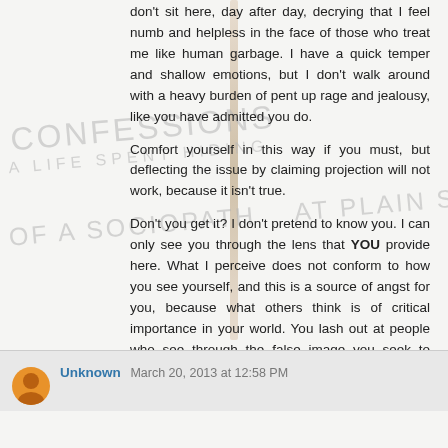don't sit here, day after day, decrying that I feel numb and helpless in the face of those who treat me like human garbage. I have a quick temper and shallow emotions, but I don't walk around with a heavy burden of pent up rage and jealousy, like you have admitted you do.
[Figure (other): Watermark text overlaid on page: 'CONFESSIONS OF A SOCIOPATH' and 'A LIFE SPENT HIDING AT PLAIN SIGHT' in light gray handwritten-style lettering, with a book spine/bookmark prop visible]
Comfort yourself in this way if you must, but deflecting the issue by claiming projection will not work, because it isn't true.
Don't you get it? I don't pretend to know you. I can only see you through the lens that YOU provide here. What I perceive does not conform to how you see yourself, and this is a source of angst for you, because what others think is of critical importance in your world. You lash out at people who see through the false image you seek to internalize and project.
Unknown   March 20, 2013 at 12:58 PM